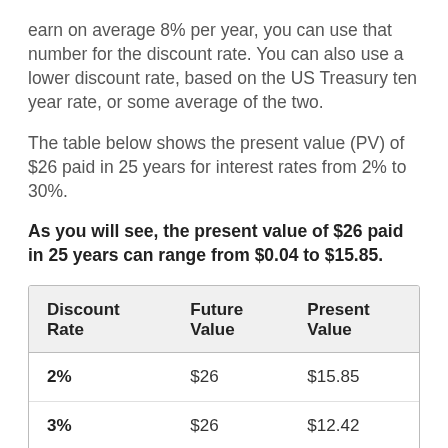earn on average 8% per year, you can use that number for the discount rate. You can also use a lower discount rate, based on the US Treasury ten year rate, or some average of the two.
The table below shows the present value (PV) of $26 paid in 25 years for interest rates from 2% to 30%.
As you will see, the present value of $26 paid in 25 years can range from $0.04 to $15.85.
| Discount Rate | Future Value | Present Value |
| --- | --- | --- |
| 2% | $26 | $15.85 |
| 3% | $26 | $12.42 |